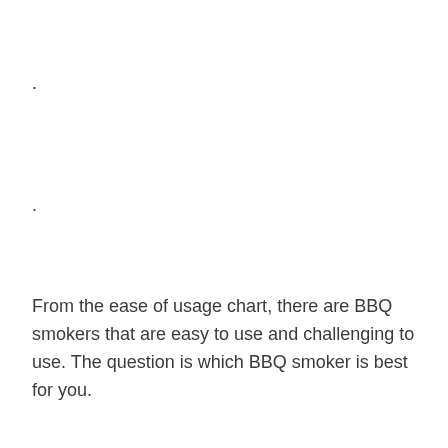.
.
From the ease of usage chart, there are BBQ smokers that are easy to use and challenging to use. The question is which BBQ smoker is best for you.
.
.
.